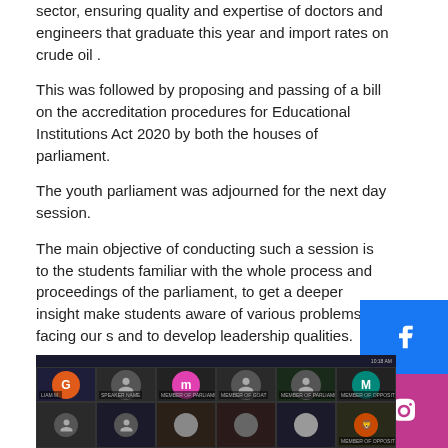sector, ensuring quality and expertise of doctors and engineers that graduate this year and import rates on crude oil .
This was followed by proposing and passing of a bill on the accreditation procedures for Educational Institutions Act 2020 by both the houses of parliament.
The youth parliament was adjourned for the next day session.
The main objective of conducting such a session is to the students familiar with the whole process and proceedings of the parliament, to get a deeper insight make students aware of various problems facing our s and to develop leadership qualities.
[Figure (screenshot): Screenshot of a video conference call showing multiple participants in a youth parliament session, displayed in a grid layout with colored avatar circles and name labels.]